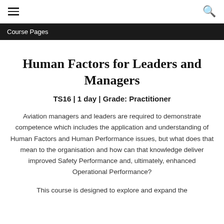Course Pages
Human Factors for Leaders and Managers
TS16 | 1 day | Grade: Practitioner
Aviation managers and leaders are required to demonstrate competence which includes the application and understanding of Human Factors and Human Performance issues, but what does that mean to the organisation and how can that knowledge deliver improved Safety Performance and, ultimately, enhanced Operational Performance?
This course is designed to explore and expand the